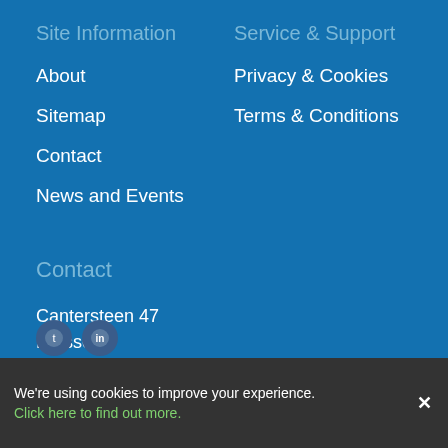Site Information
About
Sitemap
Contact
News and Events
Service & Support
Privacy & Cookies
Terms & Conditions
Contact
Cantersteen 47
Brussels
B-1000
+32 2 897 0506
info@chemdatasharing.com
We're using cookies to improve your experience.
Click here to find out more.